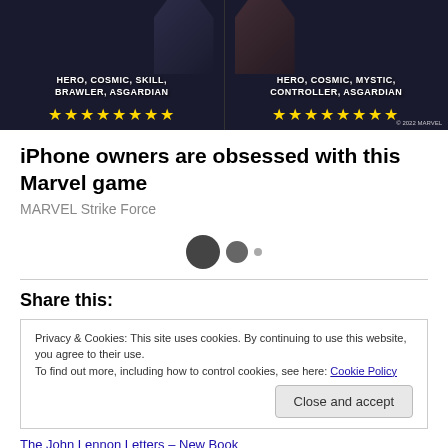[Figure (screenshot): Marvel Strike Force game advertisement banner showing two heroes with star ratings. Left side: HERO, COSMIC, SKILL, BRAWLER, ASGARDIAN with 8 gold stars. Right side: HERO, COSMIC, MYSTIC, CONTROLLER, ASGARDIAN with 8 gold stars. © 2022 MARVEL watermark.]
iPhone owners are obsessed with this Marvel game
MARVEL Strike Force
[Figure (other): Loading indicator with three dots: one large dark circle, one medium dark circle, one small light dot]
Share this:
Privacy & Cookies: This site uses cookies. By continuing to use this website, you agree to their use.
To find out more, including how to control cookies, see here: Cookie Policy
Close and accept
The John Lennon Letters – New Book